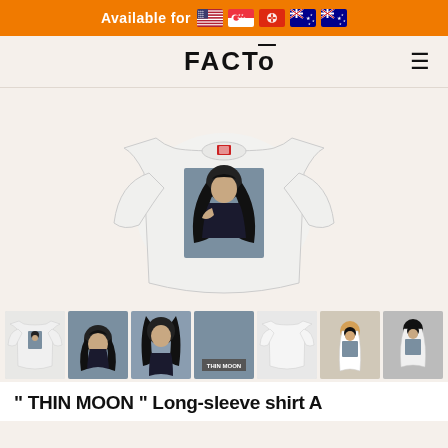Available for 🇺🇸 🇸🇬 🇭🇰 🇦🇺 🇦🇺
FACTo
[Figure (photo): White long-sleeve shirt with graphic print of a woman with long black hair on a blue-grey background]
[Figure (photo): Thumbnail strip showing 7 alternate views of the long-sleeve shirt and the graphic print]
" THIN MOON " Long-sleeve shirt A